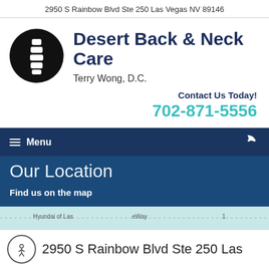2950 S Rainbow Blvd Ste 250 Las Vegas NV 89146
Desert Back & Neck Care
Terry Wong, D.C.
Contact Us Today!
702-871-5556
Menu
Our Location
Find us on the map
[Figure (map): Google Maps strip showing location near Hyundai of Las Vegas area with eWay label]
2950 S Rainbow Blvd Ste 250 Las